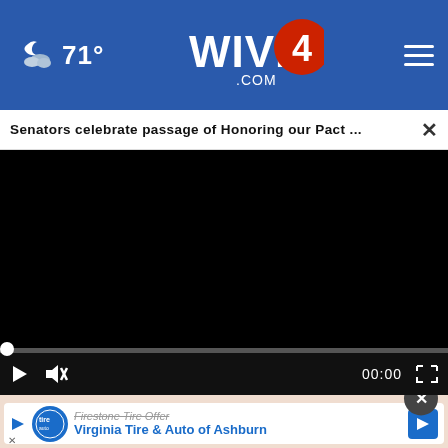71° WIVB4.com
Senators celebrate passage of Honoring our Pact ...
[Figure (screenshot): Video player showing a black screen with playback controls: play button, mute button, timestamp 00:00, fullscreen button, and a progress bar with a white dot at the start.]
[Figure (screenshot): Advertisement for Virginia Tire & Auto of Ashburn - Firestone Tire Offer, with logo, brand name in blue, and a blue arrow button. A close (X) button appears at top right.]